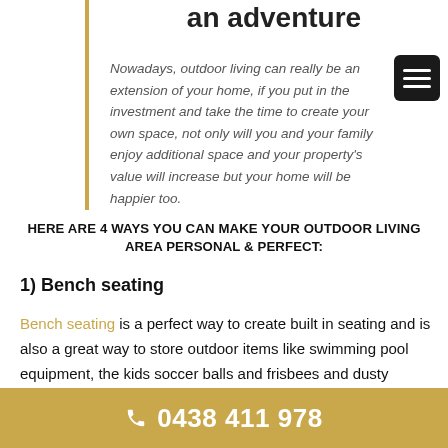an adventure
Nowadays, outdoor living can really be an extension of your home, if you put in the investment and take the time to create your own space, not only will you and your family enjoy additional space and your property's value will increase but your home will be happier too.
HERE ARE 4 WAYS YOU CAN MAKE YOUR OUTDOOR LIVING AREA PERSONAL & PERFECT:
1) Bench seating
Bench seating is a perfect way to create built in seating and is also a great way to store outdoor items like swimming pool equipment, the kids soccer balls and frisbees and dusty gardening
0438 411 978